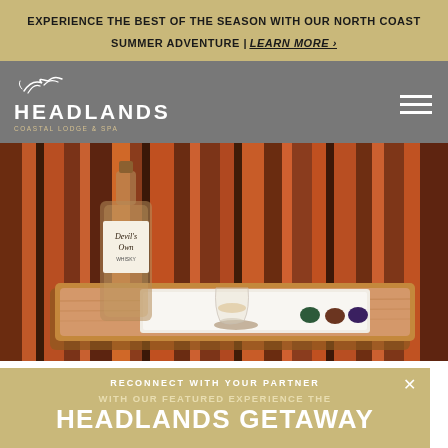EXPERIENCE THE BEST OF THE SEASON WITH OUR NORTH COAST SUMMER ADVENTURE | LEARN MORE >
[Figure (logo): Headlands Coastal Lodge & Spa logo with seabird graphic on grey navigation bar with hamburger menu icon]
[Figure (photo): A bottle of Devil's Own whisky and a small glass on a wooden tray with chocolates, set against striped rust/orange upholstery]
RECONNECT WITH YOUR PARTNER
WITH OUR FEATURED EXPERIENCE THE
HEADLANDS GETAWAY